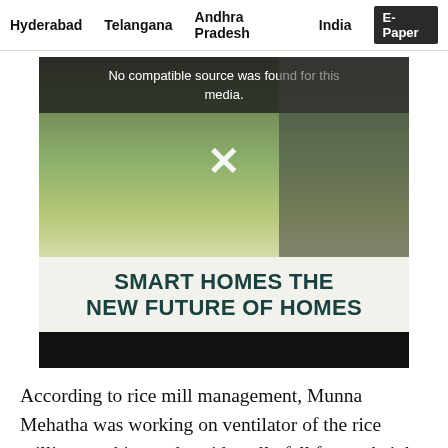Hyderabad   Telangana   Andhra Pradesh   India   E-Paper
[Figure (illustration): Advertisement for Smart Homes showing a house illustration on the left and a hand holding a tablet on the right. A media error message reads 'No compatible source was found for this media.' with a white X close button. Below the image area, bold text reads 'SMART HOMES THE NEW FUTURE OF HOMES' on a light background, followed by a black bar.]
According to rice mill management, Munna Mehatha was working on ventilator of the rice milling machine and accidentally fell from a height at 11.30 pm. He died on the spot in he incident. Chityal Sub-Inspector Saiada Babu visited the rice mill and inquired the other labour about the